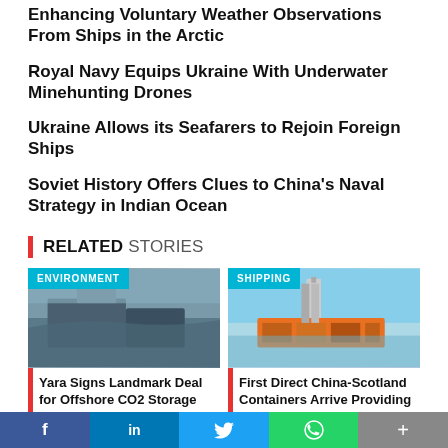Enhancing Voluntary Weather Observations From Ships in the Arctic
Royal Navy Equips Ukraine With Underwater Minehunting Drones
Ukraine Allows its Seafarers to Rejoin Foreign Ships
Soviet History Offers Clues to China's Naval Strategy in Indian Ocean
RELATED STORIES
[Figure (photo): Aerial view of an offshore industrial facility, environment category tag]
ENVIRONMENT
Yara Signs Landmark Deal for Offshore CO2 Storage
[Figure (photo): Container ship with crane, shipping category tag]
SHIPPING
First Direct China-Scotland Containers Arrive Providing Niche